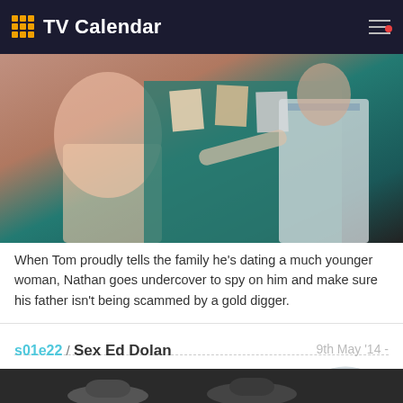TV Calendar
[Figure (photo): Two people in a room, one in a pink shirt gesturing, another in a white shirt and tie looking at photos pinned to a teal wall]
When Tom proudly tells the family he's dating a much younger woman, Nathan goes undercover to spy on him and make sure his father isn't being scammed by a gold digger.
1084
have watched this episode
s01e22 / Sex Ed Dolan
9th May '14 -
[Figure (photo): Partial view of next episode image showing people in hats]